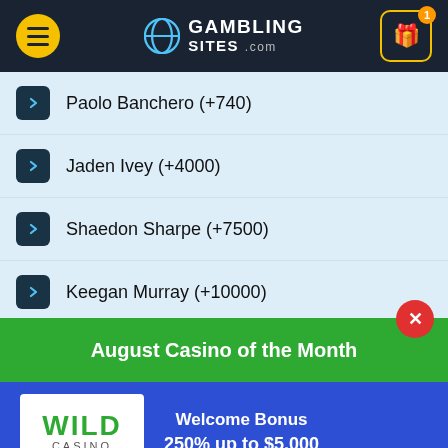GambSites.com header with menu and gift icon
Paolo Banchero (+740)
Jaden Ivey (+4000)
Shaedon Sharpe (+7500)
Keegan Murray (+10000)
AJ Griffi... (+00000)
August Casino of the Month
[Figure (logo): Wild Casino logo - white background with green WILD text and grey CASINO text]
Welcome Bonus
250% up to $5,000
VISIT SITE ▶